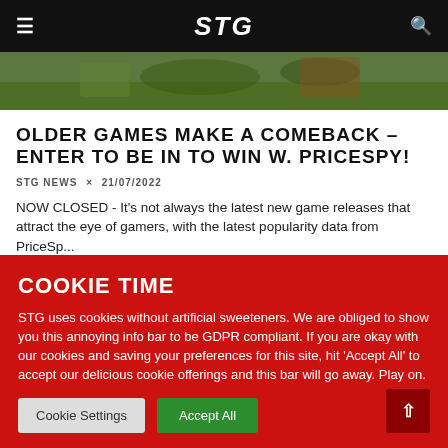STG
[Figure (photo): Hero image showing a video game scene with characters outdoors in a green environment]
OLDER GAMES MAKE A COMEBACK – ENTER TO BE IN TO WIN W. PRICESPY!
STG NEWS × 21/07/2022
NOW CLOSED - It's not always the latest new game releases that attract the eye of gamers, with the latest popularity data from PriceSp...
SEE MORE...
COOKIE TIME
STG uses cookies without artificial sweeteners. We are obliged to show you this annoying info bar to be GDPR compliant. If you are okay with our cookies and saving your preferences for this site, hit 'Accept All' to accept our delicious cookie offerings and this bar will go away. Play on.